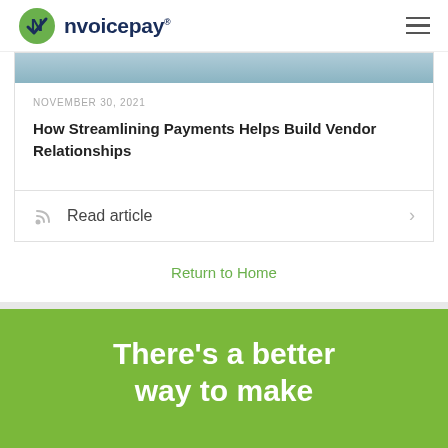nvoicepay
[Figure (photo): Partial photo visible at the top of an article card, showing people in a business setting]
NOVEMBER 30, 2021
How Streamlining Payments Helps Build Vendor Relationships
Read article
Return to Home
There's a better way to make